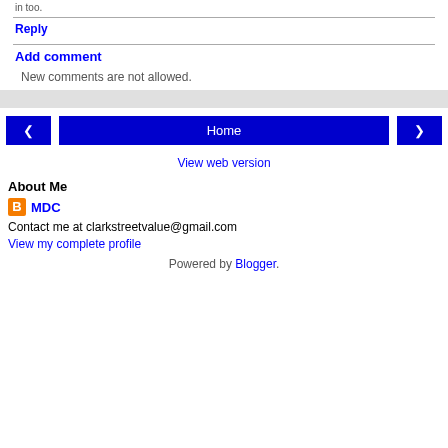in too.
Reply
Add comment
New comments are not allowed.
Home
View web version
About Me
MDC
Contact me at clarkstreetvalue@gmail.com
View my complete profile
Powered by Blogger.